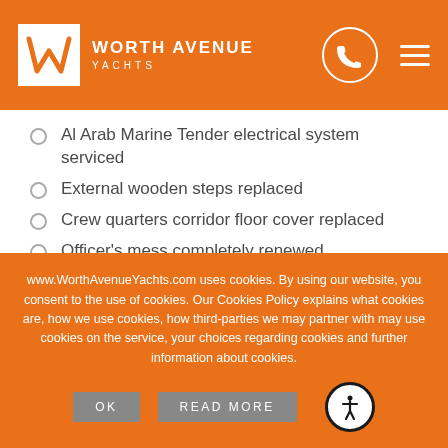[Figure (logo): Worth Avenue Yachts logo with white W icon on orange background header, phone icon in circle, and hamburger menu]
Al Arab Marine Tender electrical system serviced
External wooden steps replaced
Crew quarters corridor floor cover replaced
Officer's mess completely renewed
Crew toilets, shower bulkheads covers replaced
Engine Room fully recoated
www.WorthAvenueYachts.com uses cookies. By using our website, you consent to the use of cookies. Our Cookies Policy explains what cookies are, how we use cookies, how third-parties we may partner with may use cookies on the service, your choices regarding cookies and further information about cookies.
OK  READ MORE